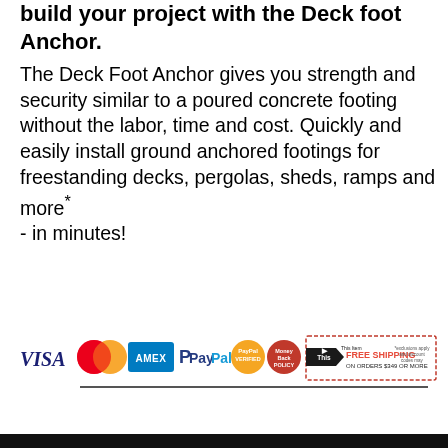build your project with the Deck foot Anchor.
The Deck Foot Anchor gives you strength and security similar to a poured concrete footing without the labor, time and cost. Quickly and easily install ground anchored footings for freestanding decks, pergolas, sheds, ramps and more* - in minutes!
[Figure (infographic): Payment method logos: VISA, MasterCard, AMEX, PayPal, PayPal Verified, and a circular coupon logo, plus a Free Shipping banner for orders $349 or more]